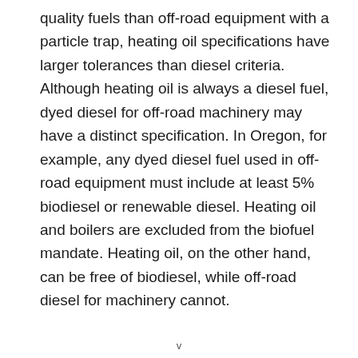quality fuels than off-road equipment with a particle trap, heating oil specifications have larger tolerances than diesel criteria. Although heating oil is always a diesel fuel, dyed diesel for off-road machinery may have a distinct specification. In Oregon, for example, any dyed diesel fuel used in off-road equipment must include at least 5% biodiesel or renewable diesel. Heating oil and boilers are excluded from the biofuel mandate. Heating oil, on the other hand, can be free of biodiesel, while off-road diesel for machinery cannot.
v